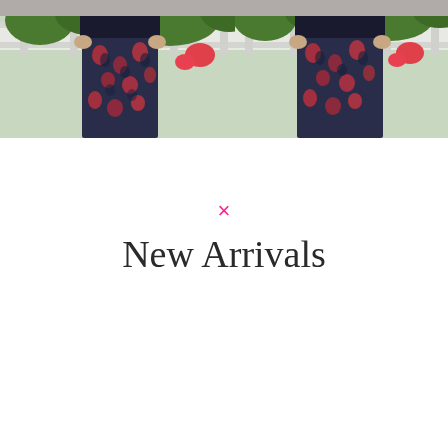ADD TO BASKET
PICK OPTIONS
×
New Arrivals
[Figure (photo): Person wearing dark floral patterned leggings, standing by a white fence with green foliage in background, left product image]
[Figure (photo): Person wearing dark floral patterned leggings, standing by a white fence with green foliage in background, right product image]